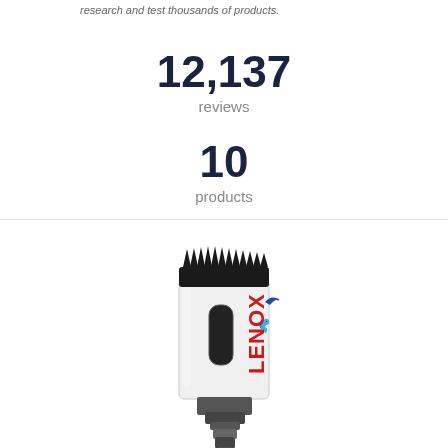research and test thousands of products.
12,137
reviews
10
products
[Figure (photo): LENOX branded bi-metal hole saw tool, white cylindrical body with black serrated cutting teeth at top, red LENOX logo text on side, black arbor/shank at bottom]